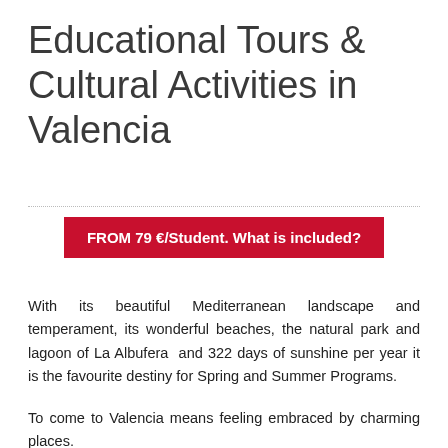Educational Tours & Cultural Activities in Valencia
FROM 79 €/Student. What is included?
With its beautiful Mediterranean landscape and temperament, its wonderful beaches, the natural park and lagoon of La Albufera and 322 days of sunshine per year it is the favourite destiny for Spring and Summer Programs.
To come to Valencia means feeling embraced by charming places.